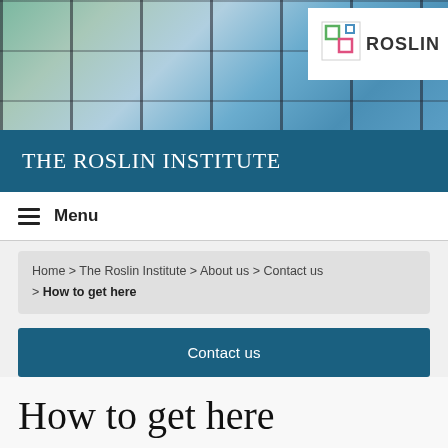[Figure (photo): Header photo of a building exterior with windows reflecting sky and greenery, with the Roslin Institute logo in the top right corner]
THE ROSLIN INSTITUTE
≡  Menu
Home > The Roslin Institute > About us > Contact us > How to get here
Contact us
How to get here
Location and how to get to The Roslin Institute.